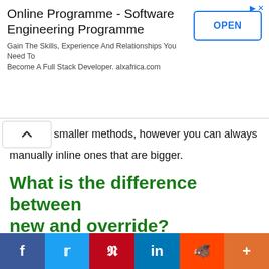[Figure (other): Advertisement banner for Online Programme - Software Engineering Programme by alxafrica.com with an OPEN button]
smaller methods, however you can always manually inline ones that are bigger.
What is the difference between new and override?
The "new" modifier instructs the compiler to use your child class implementation instead of the parent class implementation. It hides the original method (which doesn't have to be
[Figure (other): Social share bar with Facebook, Twitter, Pinterest, LinkedIn, Reddit, and More buttons]